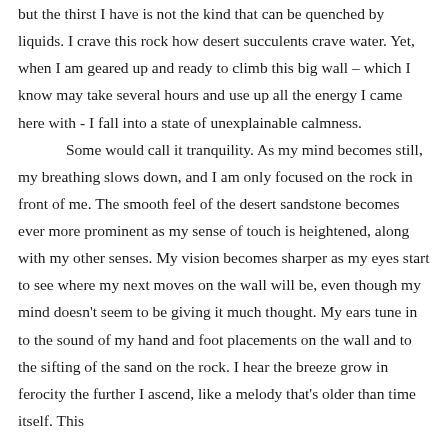but the thirst I have is not the kind that can be quenched by liquids. I crave this rock how desert succulents crave water. Yet, when I am geared up and ready to climb this big wall – which I know may take several hours and use up all the energy I came here with - I fall into a state of unexplainable calmness.

Some would call it tranquility. As my mind becomes still, my breathing slows down, and I am only focused on the rock in front of me. The smooth feel of the desert sandstone becomes ever more prominent as my sense of touch is heightened, along with my other senses. My vision becomes sharper as my eyes start to see where my next moves on the wall will be, even though my mind doesn't seem to be giving it much thought. My ears tune in to the sound of my hand and foot placements on the wall and to the sifting of the sand on the rock. I hear the breeze grow in ferocity the further I ascend, like a melody that's older than time itself. This